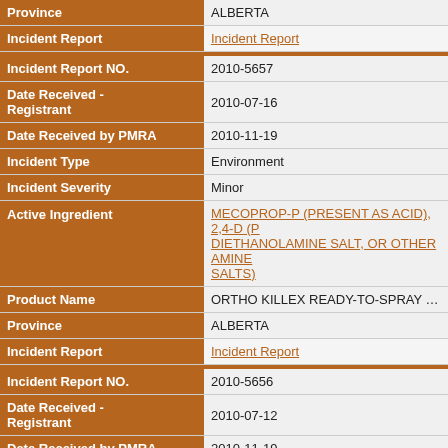| Field | Value |
| --- | --- |
| Province | ALBERTA |
| Incident Report | Incident Report |
| Incident Report NO. | 2010-5657 |
| Date Received - Registrant | 2010-07-16 |
| Date Received by PMRA | 2010-11-19 |
| Incident Type | Environment |
| Incident Severity | Minor |
| Active Ingredient | MECOPROP-P (PRESENT AS ACID), 2,4-D (PRESENT AS DIETHANOLAMINE SALT, OR OTHER AMINE SALTS) |
| Product Name | ORTHO KILLEX READY-TO-SPRAY LAWN WE... |
| Province | ALBERTA |
| Incident Report | Incident Report |
| Incident Report NO. | 2010-5656 |
| Date Received - Registrant | 2010-07-12 |
| Date Received by PMRA | 2010-11-19 |
| Incident Type | Environment |
| Incident Severity | Minor |
| Active Ingredient | MECOPROP-P (PRESENT AS ACID), 2,4-D (PRESENT AS DIETHANOLAMINE SALT, OR OTHER AMINE SALTS) |
| Product Name | ORTHO KILLEX WITH PULL N' SPRAY APPL... |